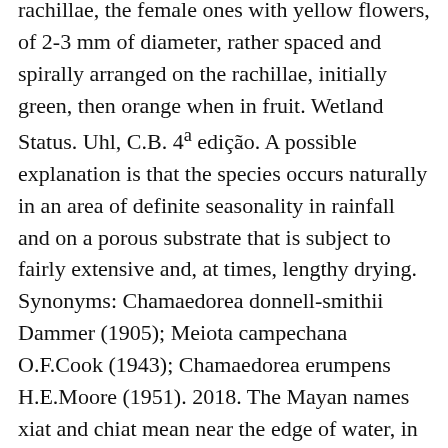rachillae, the female ones with yellow flowers, of 2-3 mm of diameter, rather spaced and spirally arranged on the rachillae, initially green, then orange when in fruit. Wetland Status. Uhl, C.B. 4ª edição. A possible explanation is that the species occurs naturally in an area of definite seasonality in rainfall and on a porous substrate that is subject to fairly extensive and, at times, lengthy drying. Synonyms: Chamaedorea donnell-smithii Dammer (1905); Meiota campechana O.F.Cook (1943); Chamaedorea erumpens H.E.Moore (1951). 2018. The Mayan names xiat and chiat mean near the edge of water, in apparent allusion to the habitat. As garden plant is nowadays diffused in all countries with tropical, subtropical and marginally temperate warm climate, where it can resist, with damage to the foliage, to temperatures up to -3 °C,